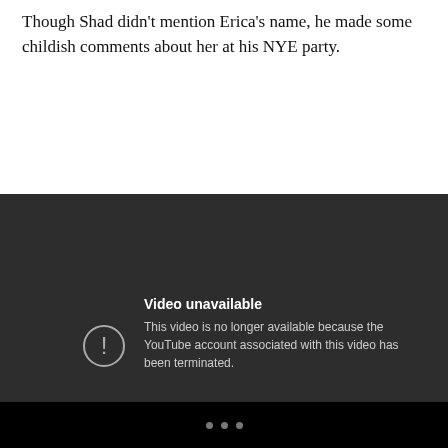Though Shad didn't mention Erica's name, he made some childish comments about her at his NYE party.
[Figure (screenshot): YouTube video unavailable screen showing dark background with error icon and message: 'Video unavailable - This video is no longer available because the YouTube account associated with this video has been terminated.']